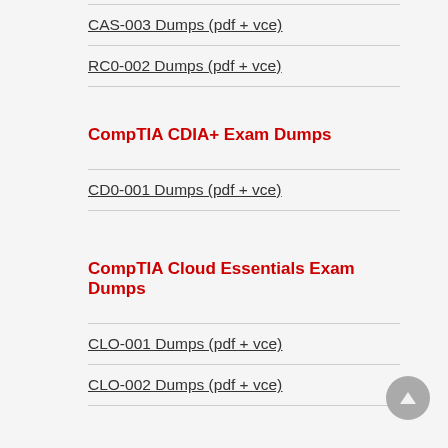CAS-003 Dumps (pdf + vce)
RC0-002 Dumps (pdf + vce)
CompTIA CDIA+ Exam Dumps
CD0-001 Dumps (pdf + vce)
CompTIA Cloud Essentials Exam Dumps
CLO-001 Dumps (pdf + vce)
CLO-002 Dumps (pdf + vce)
CompTIA CTT+ Exam Dumps